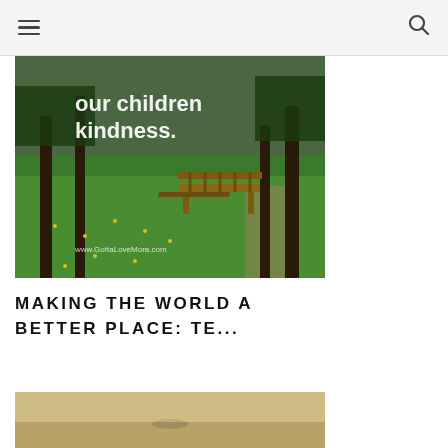[hamburger menu icon] [search icon]
[Figure (photo): Outdoor park scene with lush green ground cover, yellow wildflowers, trees and a wooden bench in background. White text overlay reads 'our children kindness.' with website watermark www.GottaLoveMora.com]
MAKING THE WORLD A BETTER PLACE: TE...
[Figure (photo): Partial view of a second image showing a muted desert or misty landscape in warm tan/brown tones]